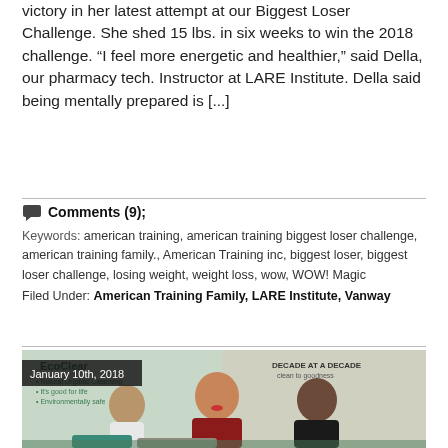victory in her latest attempt at our Biggest Loser Challenge. She shed 15 lbs. in six weeks to win the 2018 challenge. “I feel more energetic and healthier,” said Della, our pharmacy tech. Instructor at LARE Institute. Della said being mentally prepared is [...]
Comments (9); Keywords: american training, american training biggest loser challenge, american training family., American Training inc, biggest loser, biggest loser challenge, losing weight, weight loss, wow, WOW! Magic Filed Under: American Training Family, LARE Institute, Vanway
[Figure (photo): Photo dated January 10th, 2018 showing three people sitting in front of EcoClean branded banners/posters. A person in a white shirt on the left, a woman in a red plaid shirt in the center, and a woman in a black top on the right, smiling.]